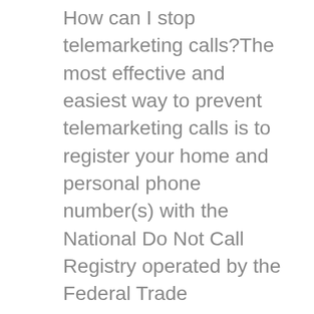How can I stop telemarketing calls?The most effective and easiest way to prevent telemarketing calls is to register your home and personal phone number(s) with the National Do Not Call Registry operated by the Federal Trade Commission (FTC).You can sign up for the Do Not Call Registry two ways: 11. Instead, ask them to tell you what number they dialed. 4. [3][4][5], In some U.S. states, making obscene telephone calls is a Class 1 Misdemeanor. Turn the phone's ringer off and don't use that phone line for anything other than capturing the calls of the harasser. However, before you sign up, look carefully at the services to be certain they will work in your situation and are worth the monthly fee. 3 The behavior must recur for at least 6 months; there must also be an intense preoccupation about talking on the phone about sex explicitly, while the caller becomes aroused, masturbates, and attains orgasm